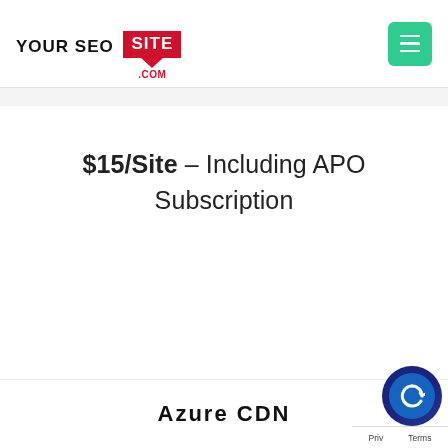[Figure (logo): YOUR SEO SITE .COM logo — 'YOUR SEO' in black bold uppercase, 'SITE' in white bold uppercase on a red badge with downward-pointing chevron, '.COM' in red below.]
[Figure (other): Green hamburger menu button with three white horizontal lines.]
$15/Site – Including APO Subscription
Azure CDN
[Figure (other): Blue circular chat widget button with white refresh/chat icon, partially visible in bottom right corner. Below it a label bar with 'Priv' and 'Terms'.]